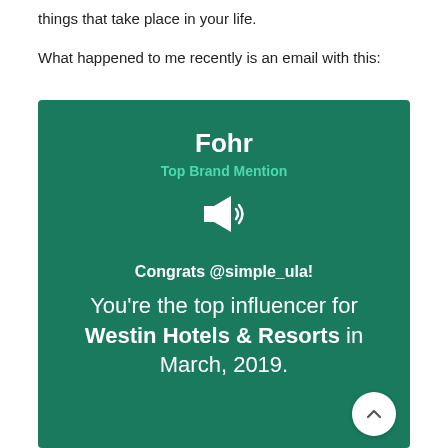things that take place in your life.
What happened to me recently is an email with this:
[Figure (infographic): Dark teal/green promotional card from Fohr showing 'Top Brand Mention' award. Contains the Fohr logo text in white and bold, 'Top Brand Mention' in teal/mint, a megaphone icon, then 'Congrats @simple_ula!' in bold white, and 'You're the top influencer for Westin Hotels & Resorts in March, 2019.' A white circular scroll-up button is in the bottom right corner.]